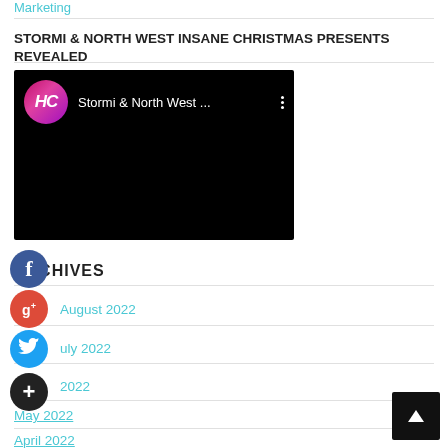Marketing
STORMI & NORTH WEST INSANE CHRISTMAS PRESENTS REVEALED
[Figure (screenshot): Embedded YouTube video player showing 'Stormi & North West ...' with HL channel logo (pink/purple circle with HC letters) on black background]
ARCHIVES
August 2022
July 2022
June 2022
May 2022
April 2022